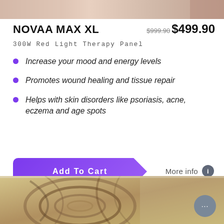[Figure (photo): Top portion of a product lifestyle photo showing a person receiving red light therapy treatment, cropped at the top of the page]
NOVAA MAX XL
$999.90 $499.90
300W Red Light Therapy Panel
Increase your mood and energy levels
Promotes wound healing and tissue repair
Helps with skin disorders like psoriasis, acne, eczema and age spots
Add To Cart
More info
[Figure (photo): Bottom portion showing decorative swirling marble/agate pattern image and hair, cropped at the bottom of the page]